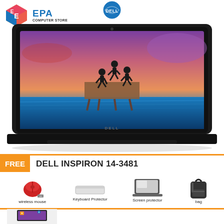[Figure (logo): Dell logo at top center, blue circular logo with white DELL text]
[Figure (logo): EPA Computer Store logo: colorful cube icon with EPA text and COMPUTER STORE subtitle in blue and dark]
[Figure (photo): Dell Inspiron 14-3481 laptop open showing a scenic photo of silhouetted people jumping on a pier at sunset/sunrise with purple and blue sky and ocean waters]
FREE
DELL INSPIRON 14-3481
[Figure (photo): Accessories shown as freebies: wireless red mouse with USB dongle, white keyboard protector/sleeve, screen protector shown on laptop, and a black bag/backpack]
wireless mouse
Screen protector
Keyboard Protector
bag
[Figure (photo): Small thumbnail preview of Dell laptop with EPA logo watermark at bottom of page]